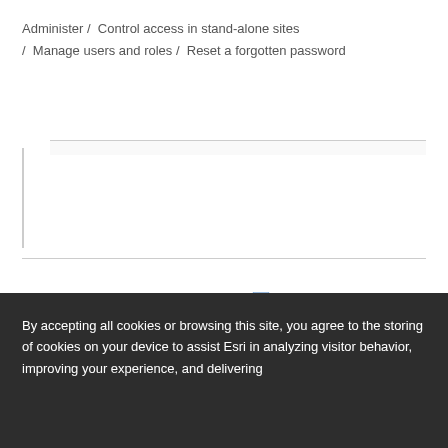Administer / Control access in stand-alone sites / Manage users and roles / Reset a forgotten password
✉ Feedback on this topic?
By accepting all cookies or browsing this site, you agree to the storing of cookies on your device to assist Esri in analyzing visitor behavior, improving your experience, and delivering